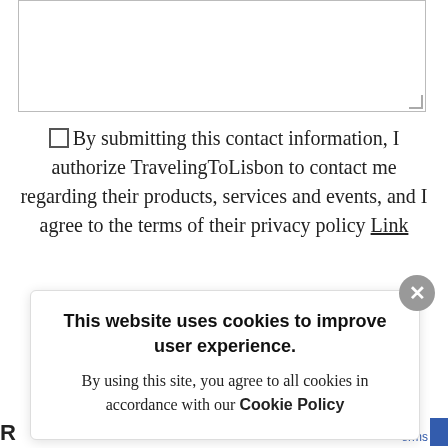[Figure (screenshot): Textarea input field with resize handle at bottom right]
By submitting this contact information, I authorize TravelingToLisbon to contact me regarding their products, services and events, and I agree to the terms of their privacy policy Link
Submit
This website uses cookies to improve user experience. By using this site, you agree to all cookies in accordance with our Cookie Policy